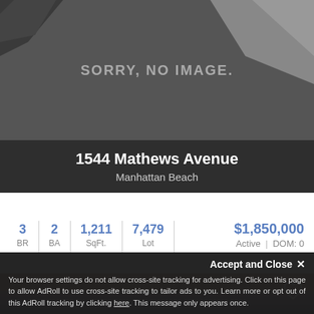[Figure (screenshot): Dark gray placeholder area with text SORRY, NO IMAGE. and geometric shapes in background]
1544 Mathews Avenue
Manhattan Beach
3 BR | 2 BA | 1,211 SqFt. | 7,479 Lot  $1,850,000  Active | DOM: 0
[Figure (photo): Partial photo of sky at dusk with pink and purple clouds, heart icon overlay]
Accept and Close ×
Your browser settings do not allow cross-site tracking for advertising. Click on this page to allow AdRoll to use cross-site tracking to tailor ads to you. Learn more or opt out of this AdRoll tracking by clicking here. This message only appears once.